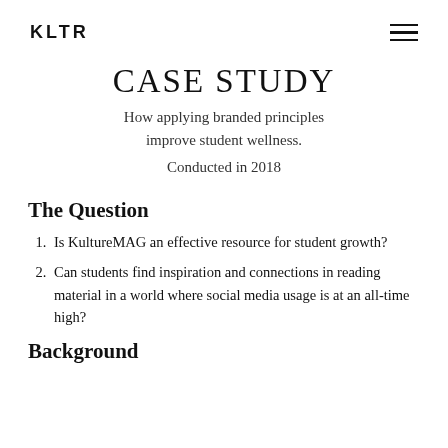KLTR
CASE STUDY
How applying branded principles improve student wellness.
Conducted in 2018
The Question
Is KultureMAG an effective resource for student growth?
Can students find inspiration and connections in reading material in a world where social media usage is at an all-time high?
Background